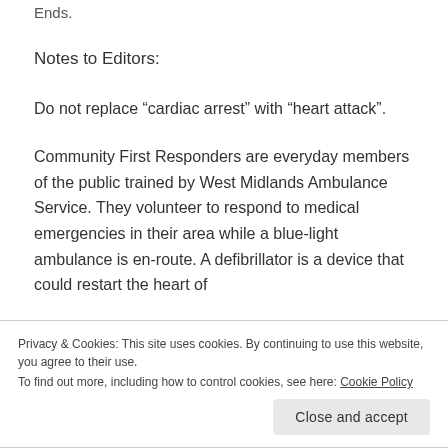Ends.
Notes to Editors:
Do not replace “cardiac arrest” with “heart attack”.
Community First Responders are everyday members of the public trained by West Midlands Ambulance Service. They volunteer to respond to medical emergencies in their area while a blue-light ambulance is en-route. A defibrillator is a device that could restart the heart of
Privacy & Cookies: This site uses cookies. By continuing to use this website, you agree to their use.
To find out more, including how to control cookies, see here: Cookie Policy
Close and accept
Share this: